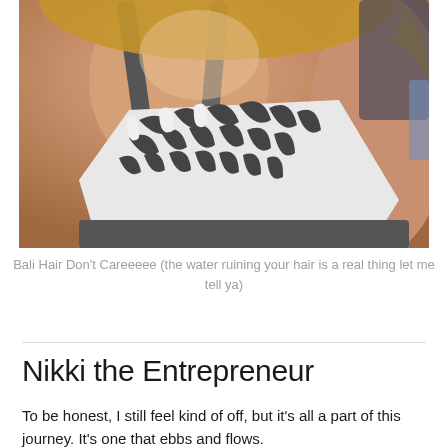[Figure (photo): Close-up selfie photo of a woman with blonde hair wearing a white and dark zebra-print sports bra or swimsuit top, warm golden sunlight, Bali setting]
Bali Hair Don’t Careeeee (the water ruining your hair is a real thing let me tell ya)
Nikki the Entrepreneur
To be honest, I still feel kind of off, but it’s all a part of this journey. It’s one that ebbs and flows.